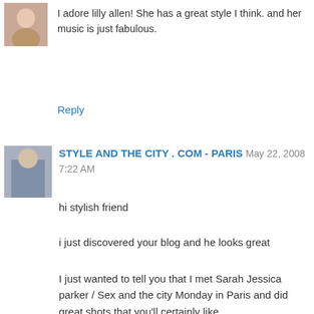I adore lilly allen! She has a great style I think. and her music is just fabulous.
Reply
STYLE AND THE CITY . COM - PARIS  May 22, 2008 7:22 AM
hi stylish friend

i just discovered your blog and he looks great

I just wanted to tell you that I met Sarah Jessica parker / Sex and the city Monday in Paris and did great shots that you'll certainly like

I also got great shots during the sunny days in Paris

Have a look and enjoy !
and may be one day i 'll be in your fav blogs ! lol

Cheers